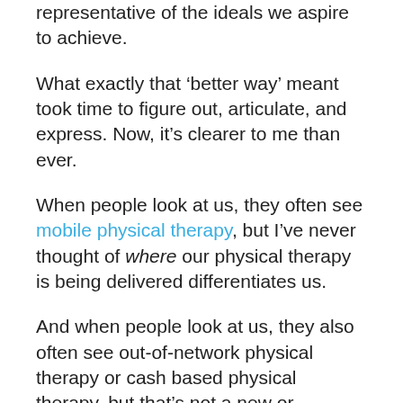representative of the ideals we aspire to achieve.
What exactly that ‘better way’ meant took time to figure out, articulate, and express. Now, it’s clearer to me than ever.
When people look at us, they often see mobile physical therapy, but I’ve never thought of where our physical therapy is being delivered differentiates us.
And when people look at us, they also often see out-of-network physical therapy or cash based physical therapy, but that’s not a new or